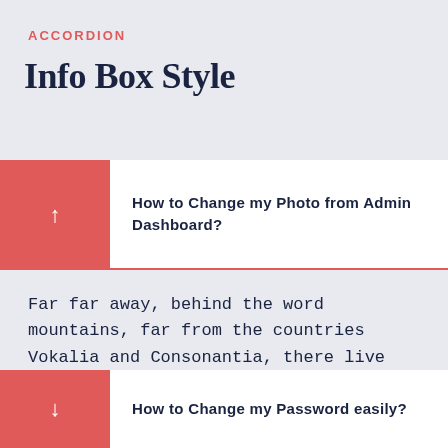ACCORDION
Info Box Style
How to Change my Photo from Admin Dashboard?
Far far away, behind the word mountains, far from the countries Vokalia and Consonantia, there live the blind texts. Separated they live in Bookmarksgrove right at the coast
How to Change my Password easily?